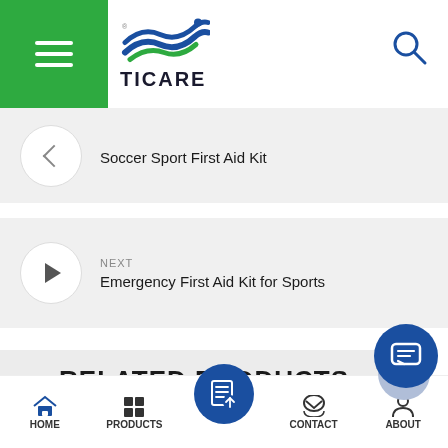TICARE - Navigation header with hamburger menu and search icon
Soccer Sport First Aid Kit
NEXT
Emergency First Aid Kit for Sports
RELATED PRODUCTS
As a professional Supplier In China, We always endeavo to further improve product quality in order to better
HOME  PRODUCTS  CONTACT  ABOUT